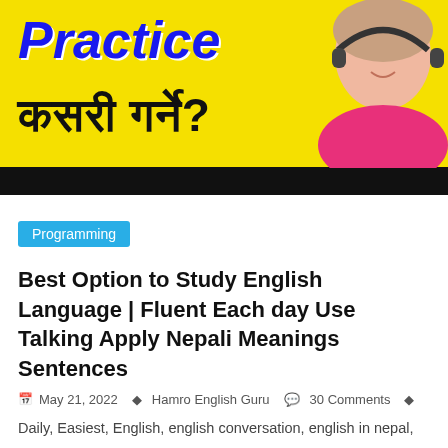[Figure (photo): Yellow banner image with 'Practice' in blue italic text and Nepali text 'कसरी गर्ने?' in black, with a woman wearing headphones on the right side, and a black bar at the bottom.]
Programming
Best Option to Study English Language | Fluent Each day Use Talking Apply Nepali Meanings Sentences
May 21, 2022   Hamro English Guru   30 Comments
Daily, Easiest, English, english conversation, english in nepal, english nepali, english nepali dictionary, english nepali online dictionary, english nepali translation, english speaking class, english speaking videos, English Talking, english to nepali, Fluent, Language, Learn